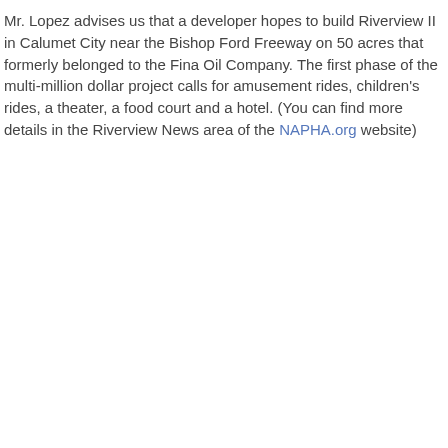Mr. Lopez advises us that a developer hopes to build Riverview II in Calumet City near the Bishop Ford Freeway on 50 acres that formerly belonged to the Fina Oil Company. The first phase of the multi-million dollar project calls for amusement rides, children's rides, a theater, a food court and a hotel. (You can find more details in the Riverview News area of the NAPHA.org website)